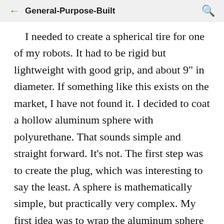General-Purpose-Built
I needed to create a spherical tire for one of my robots. It had to be rigid but lightweight with good grip, and about 9" in diameter. If something like this exists on the market, I have not found it. I decided to coat a hollow aluminum sphere with polyurethane. That sounds simple and straight forward. It's not. The first step was to create the plug, which was interesting to say the least. A sphere is mathematically simple, but practically very complex. My first idea was to wrap the aluminum sphere in a sheet of 1/4" rubber, foam, or some other material, but there was no way to